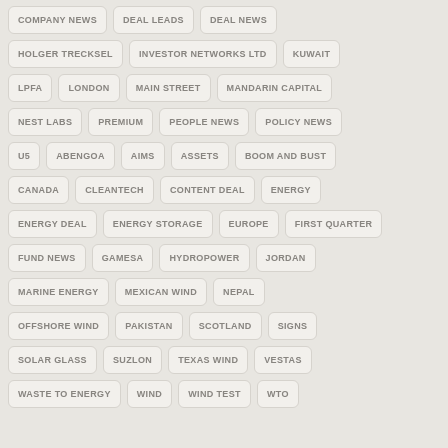COMPANY NEWS
DEAL LEADS
DEAL NEWS
HOLGER TRECKSEL
INVESTOR NETWORKS LTD
KUWAIT
LPFA
LONDON
MAIN STREET
MANDARIN CAPITAL
NEST LABS
PREMIUM
PEOPLE NEWS
POLICY NEWS
U5
ABENGOA
AIMS
ASSETS
BOOM AND BUST
CANADA
CLEANTECH
CONTENT DEAL
ENERGY
ENERGY DEAL
ENERGY STORAGE
EUROPE
FIRST QUARTER
FUND NEWS
GAMESA
HYDROPOWER
JORDAN
MARINE ENERGY
MEXICAN WIND
NEPAL
OFFSHORE WIND
PAKISTAN
SCOTLAND
SIGNS
SOLAR GLASS
SUZLON
TEXAS WIND
VESTAS
WASTE TO ENERGY
WIND
WIND TEST
WTO